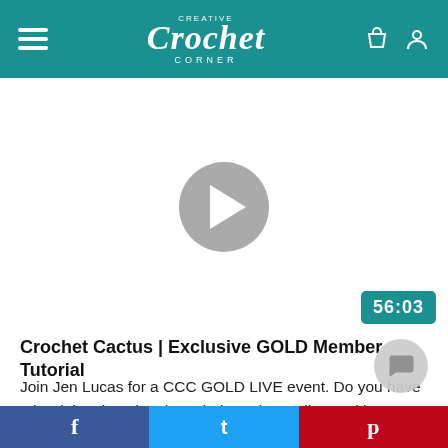Creative Crochet Corner
[Figure (screenshot): Video thumbnail with grey play button in center and duration badge '56:03' in teal at bottom right]
Crochet Cactus | Exclusive GOLD Member Tutorial
Join Jen Lucas for a CCC GOLD LIVE event. Do you have a hard time keeping those indoor plants alive? With yarn, hook, and small flowerpot, you can create a croc that you can enjoy for years to come. The best par...
f  t  p